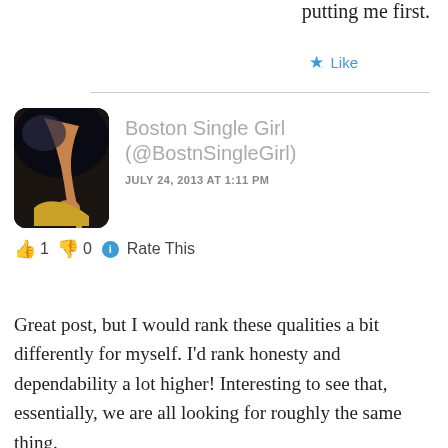putting me first.
★ Like
[Figure (photo): Profile avatar photo showing a person's hand reaching toward high-heeled shoes against a dark background, in a rounded rectangle frame]
Boston Single Girl (@BostnSingleGirl)
JULY 24, 2013 AT 1:11 PM
👍 1 👎 0 ℹ Rate This
Great post, but I would rank these qualities a bit differently for myself. I'd rank honesty and dependability a lot higher! Interesting to see that, essentially, we are all looking for roughly the same thing.